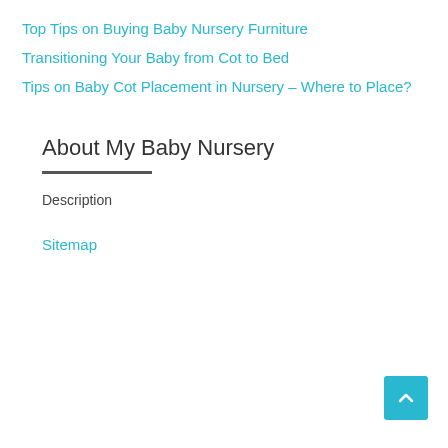Top Tips on Buying Baby Nursery Furniture
Transitioning Your Baby from Cot to Bed
Tips on Baby Cot Placement in Nursery – Where to Place?
About My Baby Nursery
Description
Sitemap